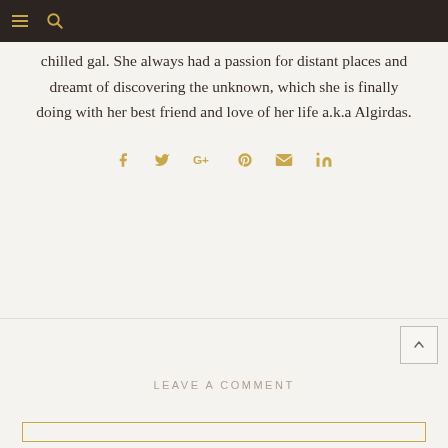≡  🔍
chilled gal. She always had a passion for distant places and dreamt of discovering the unknown, which she is finally doing with her best friend and love of her life a.k.a Algirdas.
[Figure (infographic): Social sharing icons: Facebook (f), Twitter (bird), Google+ (G+), Pinterest (P), Email (envelope), LinkedIn (in) — all in gold/tan color]
LEAVE A COMMENT